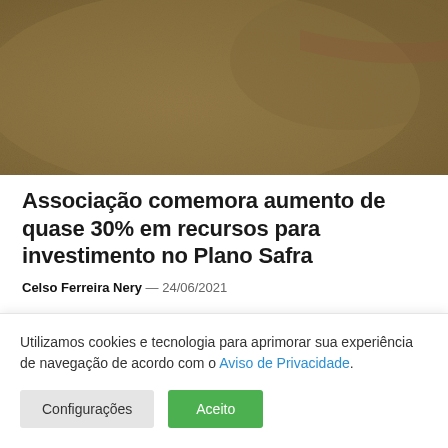[Figure (photo): Close-up photograph of grain/seeds pile with brownish-tan color, textured surface filling the frame]
Associação comemora aumento de quase 30% em recursos para investimento no Plano Safra
Celso Ferreira Nery — 24/06/2021
[Figure (photo): Partial view of a second image showing blue sky/landscape, mostly cropped]
Utilizamos cookies e tecnologia para aprimorar sua experiência de navegação de acordo com o Aviso de Privacidade.
Configurações | Aceito